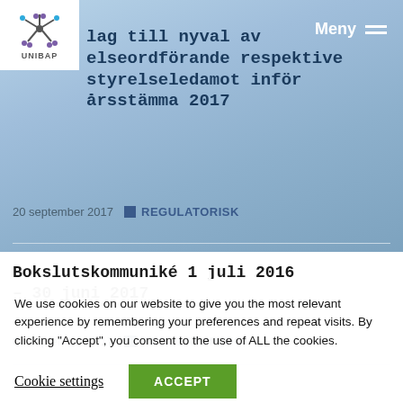[Figure (logo): UNIBAP logo with snowflake-like symbol above the text UNIBAP]
Förslag till nyval av styrelseordförande respektive styrelseledamot inför årsstämma 2017
20 september 2017  REGULATORISK
Bokslutskommuniké 1 juli 2016 – 30 juni 2017
07 september 2017  REGULATORISK
We use cookies on our website to give you the most relevant experience by remembering your preferences and repeat visits. By clicking "Accept", you consent to the use of ALL the cookies.
Cookie settings  ACCEPT